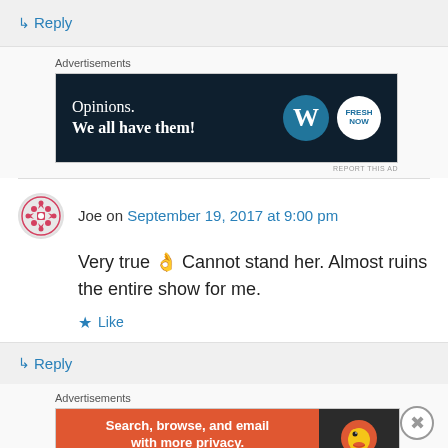↳ Reply
Advertisements
[Figure (other): WordPress advertisement banner: 'Opinions. We all have them!' with WordPress and Fresh Now logos on dark navy background]
Joe on September 19, 2017 at 9:00 pm
Very true 👌 Cannot stand her. Almost ruins the entire show for me.
★ Like
↳ Reply
Advertisements
[Figure (other): DuckDuckGo advertisement: 'Search, browse, and email with more privacy. All in One Free App' on orange background with DuckDuckGo duck logo on dark background]